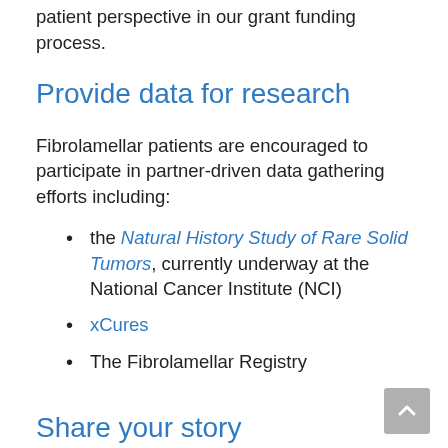applications and inject a valuable patient perspective in our grant funding process.
Provide data for research
Fibrolamellar patients are encouraged to participate in partner-driven data gathering efforts including:
the Natural History Study of Rare Solid Tumors, currently underway at the National Cancer Institute (NCI)
xCures
The Fibrolamellar Registry
Share your story
Please consider sharing your experience and